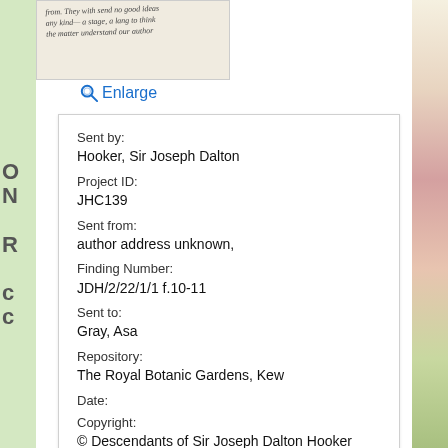[Figure (photo): Portion of a handwritten letter with cursive text]
🔍 Enlarge
| Sent by: | Hooker, Sir Joseph Dalton |
| Project ID: | JHC139 |
| Sent from: | author address unknown, |
| Finding Number: | JDH/2/22/1/1 f.10-11 |
| Sent to: | Gray, Asa |
| Repository: | The Royal Botanic Gardens, Kew |
| Date: |  |
| Copyright: | © Descendants of Sir Joseph Dalton Hooker |